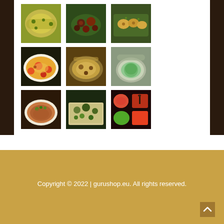[Figure (photo): 3x3 grid of food photography images showing various Indian/Asian dishes: yellow rice/couscous, braised dark meat dish, potato dish, shrimp rice, lentil soup in bowl, green soup/drink, bean stew, minced meat over rice, colorful sauces in bowls]
Copyright © 2022 | gurushop.eu. All rights reserved.